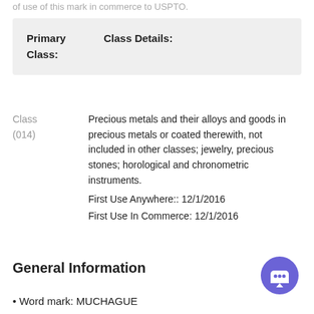of use of this mark in commerce to USPTO.
| Primary Class: | Class Details: |
| --- | --- |
Class (014)
Precious metals and their alloys and goods in precious metals or coated therewith, not included in other classes; jewelry, precious stones; horological and chronometric instruments.
First Use Anywhere:: 12/1/2016
First Use In Commerce: 12/1/2016
General Information
Word mark: MUCHAGUE